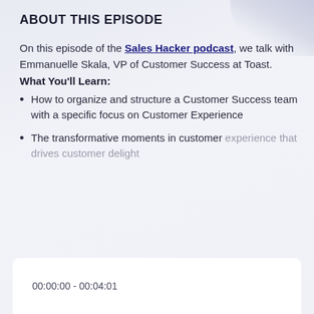ABOUT THIS EPISODE
On this episode of the Sales Hacker podcast, we talk with Emmanuelle Skala, VP of Customer Success at Toast.
What You'll Learn:
How to organize and structure a Customer Success team with a specific focus on Customer Experience
The transformative moments in customer experience that drives customer delight
00:00:00 - 00:04:01